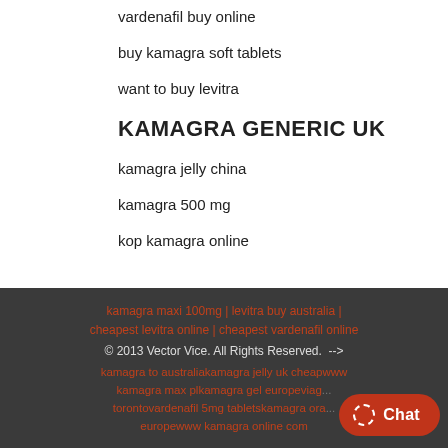vardenafil buy online
buy kamagra soft tablets
want to buy levitra
KAMAGRA GENERIC UK
kamagra jelly china
kamagra 500 mg
kop kamagra online
kamagra maxi 100mg | levitra buy australia | cheapest levitra online | cheapest vardenafil online © 2013 Vector Vice. All Rights Reserved.  --> kamagra to australiakamagra jelly uk cheapwww kamagra max plkamagra gel europeviagratorontovardenafil 5mg tabletskamagra oral jelly europewww kamagra online com